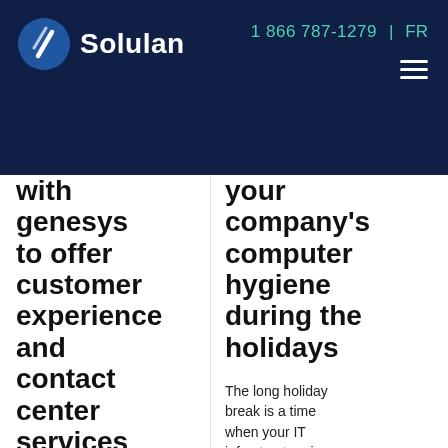Solulan | 1 866 787-1279 | FR
with genesys to offer customer experience and contact center services via cloud
Solulan just announced that
your company's computer hygiene during the holidays
The long holiday break is a time when your IT infrastructure is more vulnerable to cyber threats. Why? Because